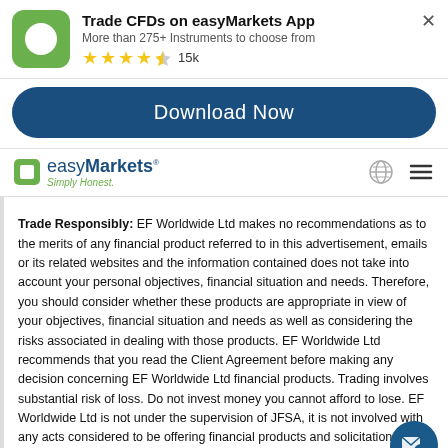[Figure (screenshot): App store banner for easyMarkets CFD trading app with green icon, star rating and Download Now button]
Trade CFDs on easyMarkets App
More than 275+ Instruments to choose from
★★★★½ 15k
Download Now
[Figure (logo): easyMarkets logo with green square icon and tagline Simply Honest.]
Trade Responsibly: EF Worldwide Ltd makes no recommendations as to the merits of any financial product referred to in this advertisement, emails or its related websites and the information contained does not take into account your personal objectives, financial situation and needs. Therefore, you should consider whether these products are appropriate in view of your objectives, financial situation and needs as well as considering the risks associated in dealing with those products. EF Worldwide Ltd recommends that you read the Client Agreement before making any decision concerning EF Worldwide Ltd financial products. Trading involves substantial risk of loss. Do not invest money you cannot afford to lose. EF Worldwide Ltd is not under the supervision of JFSA, it is not involved with any acts considered to be offering financial products and solicitation for financial services, and this website is not aimed at residents in Japan. EF Worldwide Ltd (British